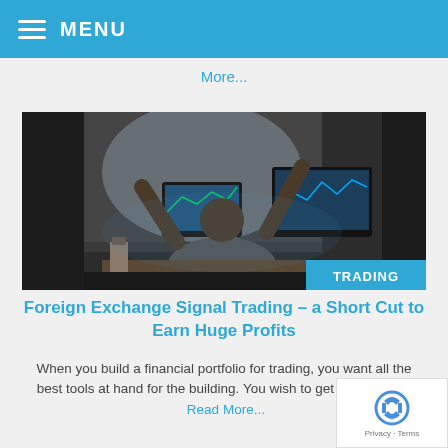≡ MENU
More...
[Figure (photo): Person sitting at trading desk with multiple monitors showing charts, arms raised in celebration. A 'TRADING' badge appears in the bottom-right corner of the image.]
Foreign Exchange Signal Trading – a Short Cut to Earn Huge Profits
When you build a financial portfolio for trading, you want all the best tools at hand for the building. You wish to get profits in the  Read More...